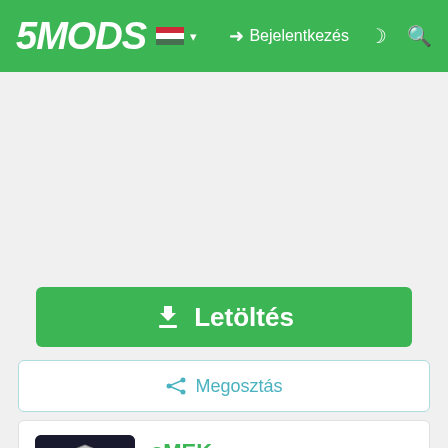5MODS — Bejelentkezés
[Figure (screenshot): Advertisement placeholder area (gray background)]
Letöltés
Megosztás
[Figure (illustration): sMEK user profile avatar — lion with crown logo on dark background with SMEK text]
sMEK